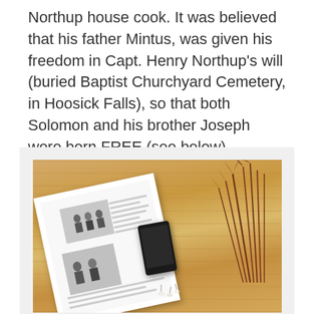Northup house cook. It was believed that his father Mintus, was given his freedom in Capt. Henry Northup's will (buried Baptist Churchyard Cemetery, in Hoosick Falls), so that both Solomon and his brother Joseph were born FREE (see below).
[Figure (photo): An open magazine or book with photos of people, lying on a wooden table alongside a small dark smartphone/device and dried reddish-brown grass stalks, photographed from above.]